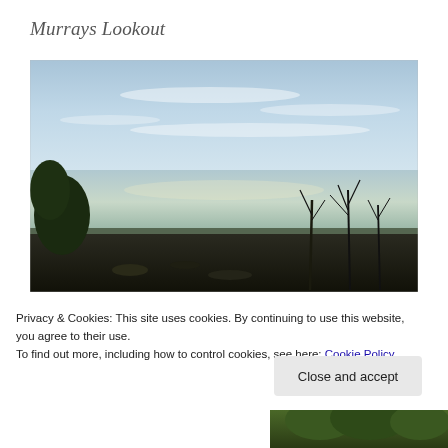Murrays Lookout
[Figure (photo): Coastal lookout photograph showing ocean view with blue sky, calm sea reflecting sunlight, and silhouetted trees and shrubland in the foreground]
Privacy & Cookies: This site uses cookies. By continuing to use this website, you agree to their use.
To find out more, including how to control cookies, see here: Cookie Policy
Close and accept